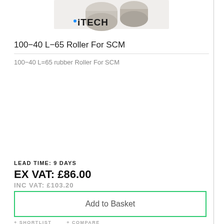[Figure (photo): Product photo of rubber rollers and iTECH logo]
100-40 L-65 Roller For SCM
100-40 L=65 rubber Roller For SCM
LEAD TIME: 9 DAYS
EX VAT: £86.00
INC VAT: £103.20
Add to Basket
+ SHORTLIST  + COMPARE